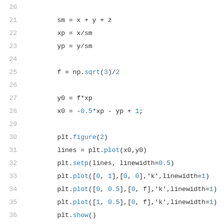Code listing lines 20-42: Python code snippet showing variable assignments and matplotlib plotting calls, followed by a solve_flow function definition.